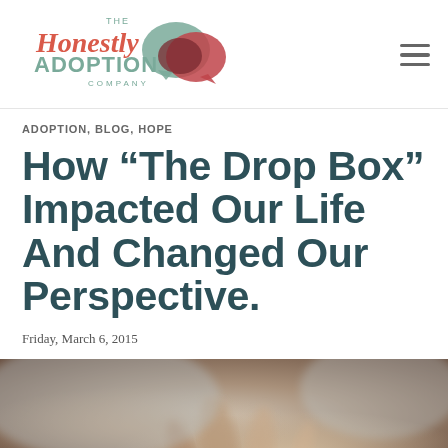The Honestly Adoption Company [logo]
ADOPTION, BLOG, HOPE
How “The Drop Box” Impacted Our Life And Changed Our Perspective.
Friday, March 6, 2015
[Figure (photo): Blurred close-up photo of what appears to be a baby's hand or small hands, soft focus with warm tones]